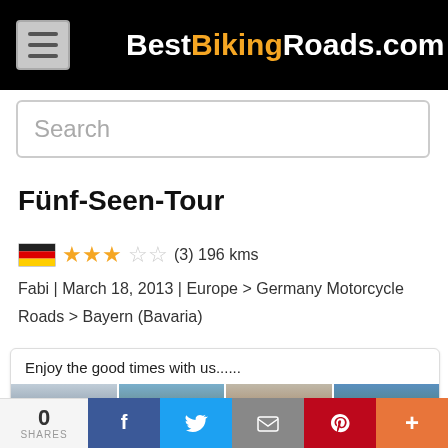BestBikingRoads.com
Search
Fünf-Seen-Tour
🇩🇪 ★★★☆☆ (3) 196 kms
Fabi | March 18, 2013 | Europe > Germany Motorcycle Roads > Bayern (Bavaria)
Enjoy the good times with us......
[Figure (photo): Gallery of motorcycle touring photos showing mountain landscapes and riders]
0 SHARES